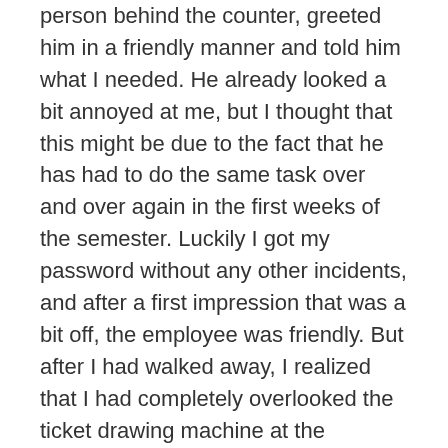person behind the counter, greeted him in a friendly manner and told him what I needed. He already looked a bit annoyed at me, but I thought that this might be due to the fact that he has had to do the same task over and over again in the first weeks of the semester. Luckily I got my password without any other incidents, and after a first impression that was a bit off, the employee was friendly. But after I had walked away, I realized that I had completely overlooked the ticket drawing machine at the entrance! Which means that I just walked up to him without having a ticket, probably taking someone else's place in the queue where I also should have been.
After that incident I started to observe every public building I entered with much more care, as I was scared to miss something that might be